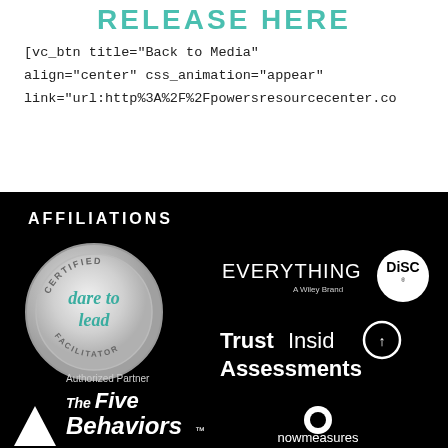RELEASE HERE
[vc_btn title="Back to Media" align="center" css_animation="appear" link="url:http%3A%2F%2Fpowersresourcecenter.co
AFFILIATIONS
[Figure (logo): Dare to Lead Certified Facilitator badge - circular metallic badge with teal text]
[Figure (logo): Everything DiSC - A Wiley Brand logo with white circle]
[Figure (logo): TrustInside Assessments logo in white with circular arrow icon]
[Figure (logo): The Five Behaviors Authorized Partner logo with white triangle and text]
[Figure (logo): nowmeasures logo with circular icon]